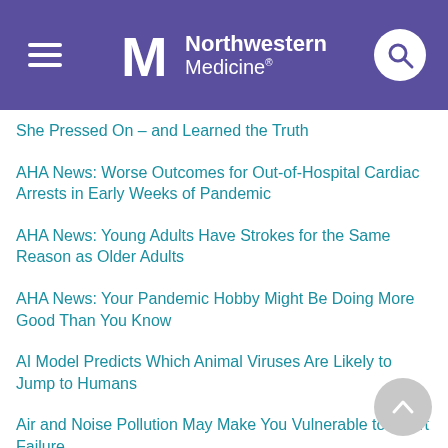Northwestern Medicine
She Pressed On &ndash; and Learned the Truth
AHA News: Worse Outcomes for Out-of-Hospital Cardiac Arrests in Early Weeks of Pandemic
AHA News: Young Adults Have Strokes for the Same Reason as Older Adults
AHA News: Your Pandemic Hobby Might Be Doing More Good Than You Know
AI Model Predicts Which Animal Viruses Are Likely to Jump to Humans
Air and Noise Pollution May Make You Vulnerable to Heart Failure
Alabama Cases of Acute Hepatitis in Kids Show Link to Viruses: CDC